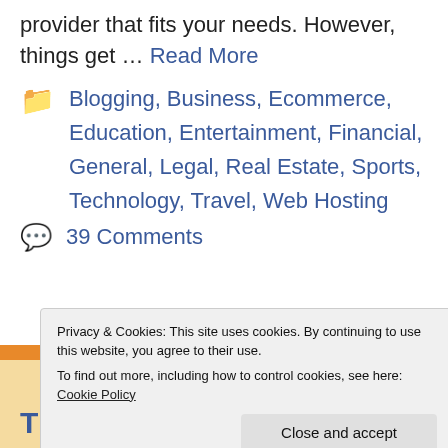provider that fits your needs. However, things get … Read More
Blogging, Business, Ecommerce, Education, Entertainment, Financial, General, Legal, Real Estate, Sports, Technology, Travel, Web Hosting
39 Comments
Privacy & Cookies: This site uses cookies. By continuing to use this website, you agree to their use. To find out more, including how to control cookies, see here: Cookie Policy
Close and accept
The Best